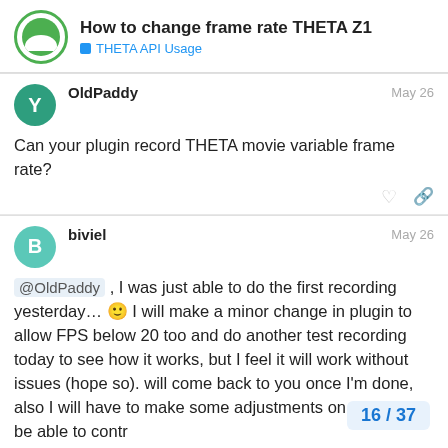How to change frame rate THETA Z1 — THETA API Usage
OldPaddy  May 26
Can your plugin record THETA movie variable frame rate?
biviel  May 26
@OldPaddy , I was just able to do the first recording yesterday… I will make a minor change in plugin to allow FPS below 20 too and do another test recording today to see how it works, but I feel it will work without issues (hope so). will come back to you once I'm done, also I will have to make some adjustments on website to be able to contr
16 / 37